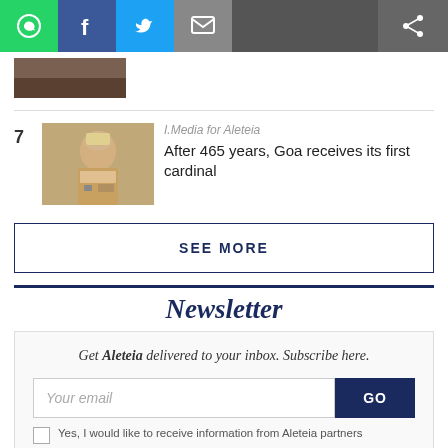[Figure (other): Social sharing toolbar with WhatsApp (green), Facebook (blue), Twitter (light blue), Email (gray), and Share (gray) buttons]
[Figure (photo): Partially visible photo at top of article list]
I.Media for Aleteia
After 465 years, Goa receives its first cardinal
[Figure (photo): Photo of a bishop/cardinal in ceremonial robes speaking at a microphone, numbered 7]
SEE MORE
Newsletter
Get Aleteia delivered to your inbox. Subscribe here.
Your email
GO
Yes, I would like to receive information from Aleteia partners